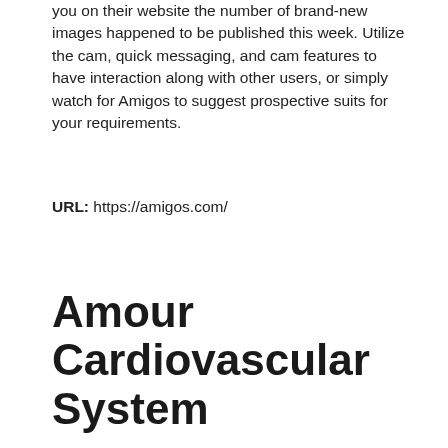you on their website the number of brand-new images happened to be published this week. Utilize the cam, quick messaging, and cam features to have interaction along with other users, or simply watch for Amigos to suggest prospective suits for your requirements.
URL: https://amigos.com/
Amour Cardiovascular System